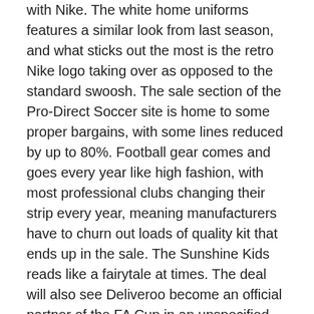with Nike. The white home uniforms features a similar look from last season, and what sticks out the most is the retro Nike logo taking over as opposed to the standard swoosh. The sale section of the Pro-Direct Soccer site is home to some proper bargains, with some lines reduced by up to 80%. Football gear comes and goes every year like high fashion, with most professional clubs changing their strip every year, meaning manufacturers have to churn out loads of quality kit that ends up in the sale. The Sunshine Kids reads like a fairytale at times. The deal will also see Deliveroo become an official partner of the FA Cup in an unspecified category. No stranger to entering unchartered territory, restaurant delivery giant Deliveroo has today announced it has signed a multi-year partnership with the England football association – to become an official partner both to the England football teams and the FA Cup, the domestic club knock-out competition, england soccer jersey world cup 2014 which is the longest-running